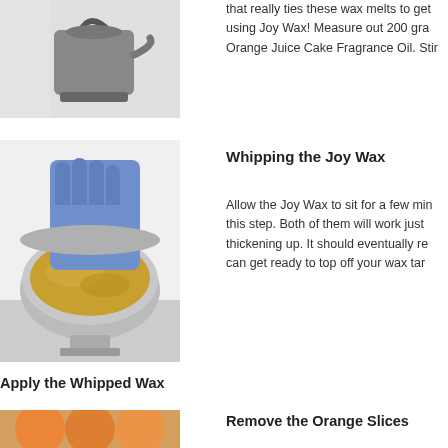[Figure (photo): Metal kettle or pouring pot on a stovetop surface]
that really ties these wax melts together using Joy Wax! Measure out 200 grams of Orange Juice Cake Fragrance Oil. Stir
[Figure (photo): Gloved hand whipping golden wax in a metal bowl]
Whipping the Joy Wax
Allow the Joy Wax to sit for a few minutes this step. Both of them will work just thickening up. It should eventually re can get ready to top off your wax tar
Apply the Whipped Wax
Take a regular sized spoon to scoop small amounts of the w center of your tarts so that everything looks symmetrical. As little. Then it is really going to look like the fluffy white topping
[Figure (photo): Partial view of orange slice wax tarts]
Remove the Orange Slices